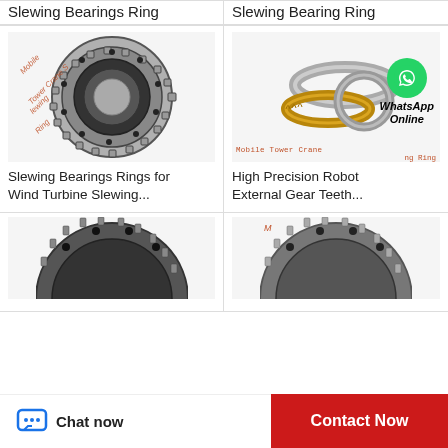Slewing Bearings Ring
Slewing Bearing Ring
[Figure (photo): Slewing bearings ring gear with external teeth, large industrial ring bearing with bolt holes, watermark reading Mobile Tower Crane Slewing Ring]
[Figure (photo): High precision robot external gear teeth slewing bearing rings, multiple rings in silver and gold, with WhatsApp Online badge and watermark reading Mobile Tower Crane Slewing Ring]
Slewing Bearings Rings for Wind Turbine Slewing...
High Precision Robot External Gear Teeth...
[Figure (photo): Partial view of large slewing ring bearing with teeth, dark colored]
[Figure (photo): Partial view of large slewing ring bearing with bolt holes and teeth, with watermark M...]
Chat now   Contact Now